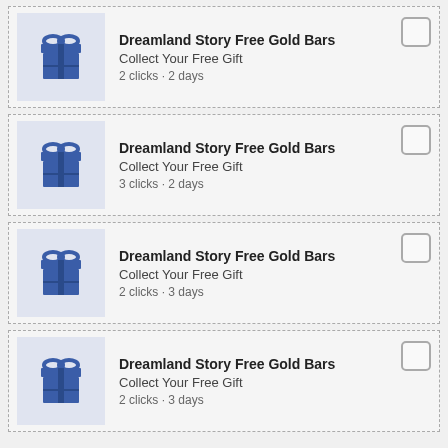Dreamland Story Free Gold Bars
Collect Your Free Gift
2 clicks · 2 days
Dreamland Story Free Gold Bars
Collect Your Free Gift
3 clicks · 2 days
Dreamland Story Free Gold Bars
Collect Your Free Gift
2 clicks · 3 days
Dreamland Story Free Gold Bars
Collect Your Free Gift
2 clicks · 3 days